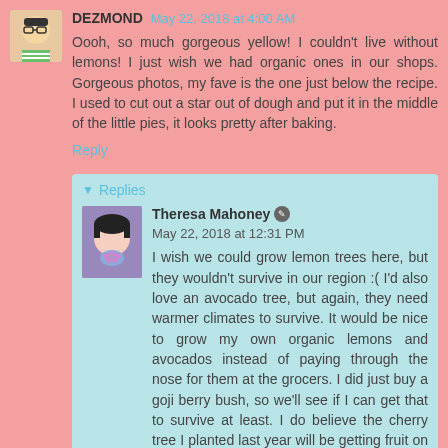[Figure (illustration): Avatar icon of a cartoon character with glasses and striped shirt]
DEZMOND May 22, 2018 at 4:00 AM
Oooh, so much gorgeous yellow! I couldn't live without lemons! I just wish we had organic ones in our shops. Gorgeous photos, my fave is the one just below the recipe. I used to cut out a star out of dough and put it in the middle of the little pies, it looks pretty after baking.
Reply
Replies
[Figure (photo): Profile photo of Theresa Mahoney, a woman holding flowers near her face]
Theresa Mahoney May 22, 2018 at 12:31 PM
I wish we could grow lemon trees here, but they wouldn't survive in our region :( I'd also love an avocado tree, but again, they need warmer climates to survive. It would be nice to grow my own organic lemons and avocados instead of paying through the nose for them at the grocers. I did just buy a goji berry bush, so we'll see if I can get that to survive at least. I do believe the cherry tree I planted last year will be getting fruit on it